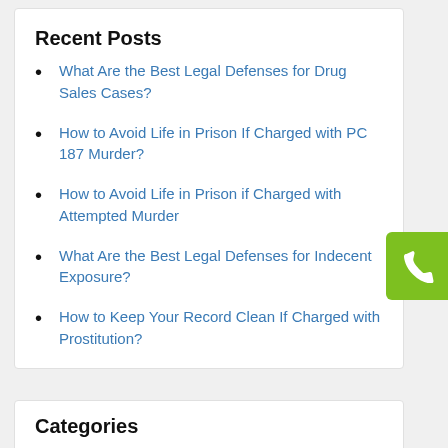Recent Posts
What Are the Best Legal Defenses for Drug Sales Cases?
How to Avoid Life in Prison If Charged with PC 187 Murder?
How to Avoid Life in Prison if Charged with Attempted Murder
What Are the Best Legal Defenses for Indecent Exposure?
How to Keep Your Record Clean If Charged with Prostitution?
Categories